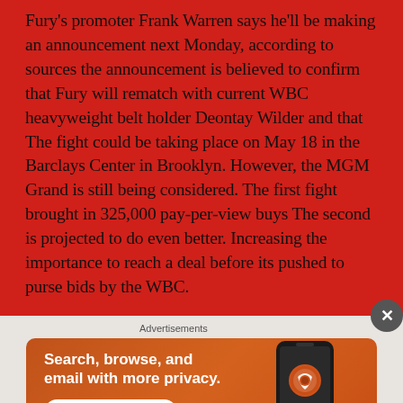Fury's promoter Frank Warren says he'll be making an announcement next Monday, according to sources the announcement is believed to confirm that Fury will rematch with current WBC heavyweight belt holder Deontay Wilder and that The fight could be taking place on May 18 in the Barclays Center in Brooklyn. However, the MGM Grand is still being considered. The first fight brought in 325,000 pay-per-view buys The second is projected to do even better. Increasing the importance to reach a deal before its pushed to purse bids by the WBC.
Advertisements
[Figure (illustration): DuckDuckGo advertisement banner on orange background showing phone with DuckDuckGo logo. Text: 'Search, browse, and email with more privacy. All in One Free App']